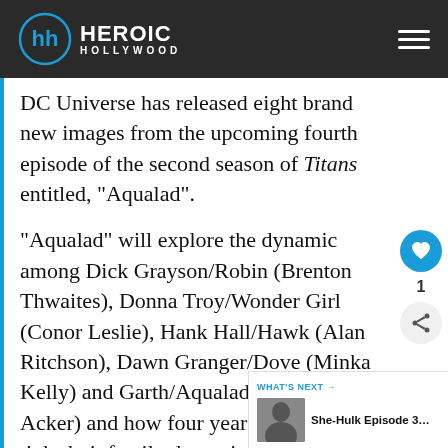HEROIC HOLLYWOOD
DC Universe has released eight brand new images from the upcoming fourth episode of the second season of Titans entitled, "Aqualad".
"Aqualad" will explore the dynamic among Dick Grayson/Robin (Brenton Thwaites), Donna Troy/Wonder Girl (Conor Leslie), Hank Hall/Hawk (Alan Ritchson), Dawn Granger/Dove (Minka Kelly) and Garth/Aqualad (Drew Van Acker) and how four years prior, their tight-knit fa… dynamic developed only to have their